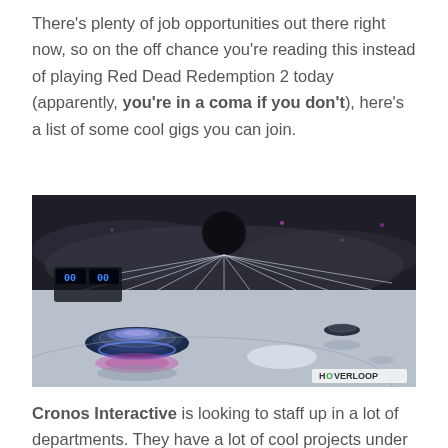There's plenty of job opportunities out there right now, so on the off chance you're reading this instead of playing Red Dead Redemption 2 today (apparently, you're in a coma if you don't), here's a list of some cool gigs you can join.
[Figure (screenshot): Screenshot from the video game Hoverloop, showing a futuristic hovering disc/robot on a reflective surface with light beams, a scoreboard in the background, and the HOVERLOOP watermark in the bottom right corner.]
Cronos Interactive is looking to staff up in a lot of departments. They have a lot of cool projects under their wing right now, so there's a real